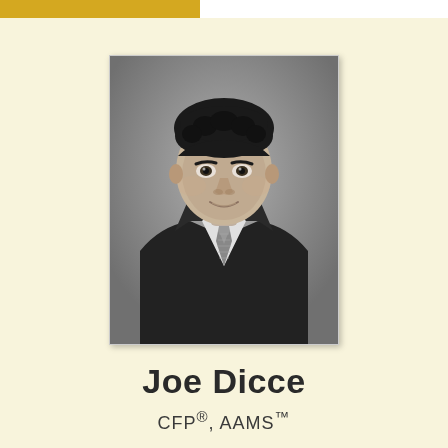[Figure (photo): Black and white professional headshot of Joe Dicce, a man in a dark suit and patterned tie, with curly dark hair, smiling slightly, against a neutral gray background.]
Joe Dicce
CFP®, AAMS™